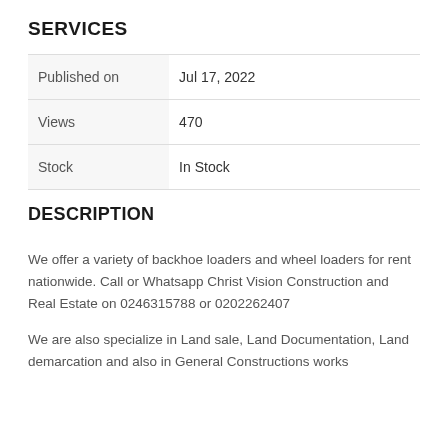SERVICES
|  |  |
| --- | --- |
| Published on | Jul 17, 2022 |
| Views | 470 |
| Stock | In Stock |
DESCRIPTION
We offer a variety of backhoe loaders and wheel loaders for rent nationwide. Call or Whatsapp Christ Vision Construction and Real Estate on 0246315788 or 0202262407
We are also specialize in Land sale, Land Documentation, Land demarcation and also in General Constructions works